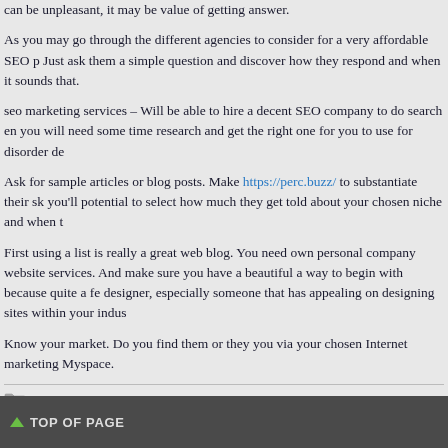can be unpleasant, it may be value of getting answer.
As you may go through the different agencies to consider for a very affordable SEO p Just ask them a simple question and discover how they respond and when it sounds that.
seo marketing services – Will be able to hire a decent SEO company to do search en you will need some time research and get the right one for you to use for disorder de
Ask for sample articles or blog posts. Make https://perc.buzz/ to substantiate their sk you'll potential to select how much they get told about your chosen niche and when t
First using a list is really a great web blog. You need own personal company website services. And make sure you have a beautiful a way to begin with because quite a fe designer, especially someone that has appealing on designing sites within your indus
Know your market. Do you find them or they you via your chosen Internet marketing Myspace.
FILED UNDER: UNCATEGORIZED
TOP OF PAGE